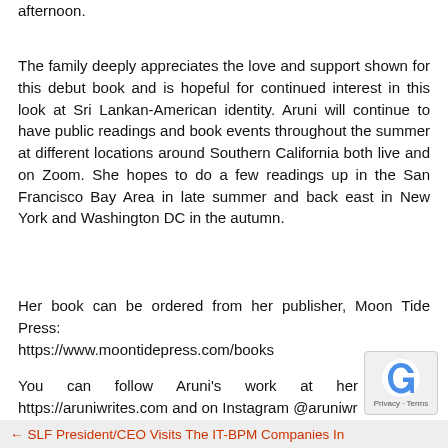afternoon.
The family deeply appreciates the love and support shown for this debut book and is hopeful for continued interest in this look at Sri Lankan-American identity. Aruni will continue to have public readings and book events throughout the summer at different locations around Southern California both live and on Zoom. She hopes to do a few readings up in the San Francisco Bay Area in late summer and back east in New York and Washington DC in the autumn.
Her book can be ordered from her publisher, Moon Tide Press:
https://www.moontidepress.com/books
You can follow Aruni's work at her https://aruniwrites.com and on Instagram @aruniwr
← SLF President/CEO Visits The IT-BPM Companies In